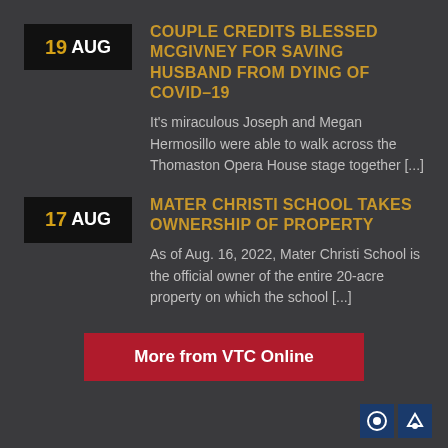COUPLE CREDITS BLESSED MCGIVNEY FOR SAVING HUSBAND FROM DYING OF COVID-19
It's miraculous Joseph and Megan Hermosillo were able to walk across the Thomaston Opera House stage together [...]
MATER CHRISTI SCHOOL TAKES OWNERSHIP OF PROPERTY
As of Aug. 16, 2022, Mater Christi School is the official owner of the entire 20-acre property on which the school [...]
More from VTC Online